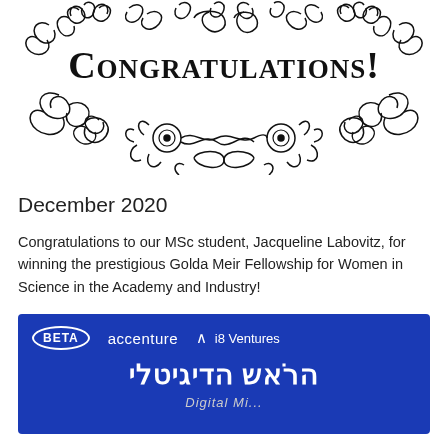[Figure (illustration): Decorative ornamental flourish illustration with the word CONGRATULATIONS! in large serif letters, surrounded by black floral/scroll decorative elements]
December 2020
Congratulations to our MSc student, Jacqueline Labovitz, for winning the prestigious Golda Meir Fellowship for Women in Science in the Academy and Industry!
[Figure (photo): Blue banner image with BETA oval badge, accenture logo, i8 Ventures logo, large white Hebrew text הראש הדיגיטלי, and partial text below in white]